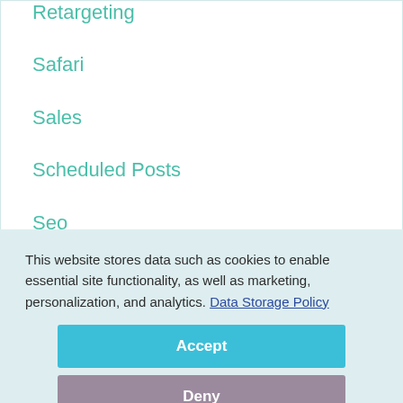Retargeting
Safari
Sales
Scheduled Posts
Seo
Service
This website stores data such as cookies to enable essential site functionality, as well as marketing, personalization, and analytics. Data Storage Policy
Accept
Deny